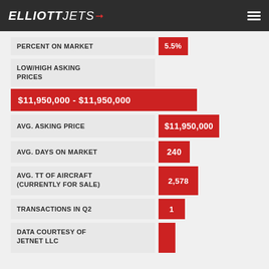ELLIOTT JETS
PERCENT ON MARKET
LOW/HIGH ASKING PRICES
$11,950,000 - $11,950,000
AVG. ASKING PRICE
AVG. DAYS ON MARKET
AVG. TT OF AIRCRAFT (CURRENTLY FOR SALE)
TRANSACTIONS IN Q2
DATA COURTESY OF JETNET LLC